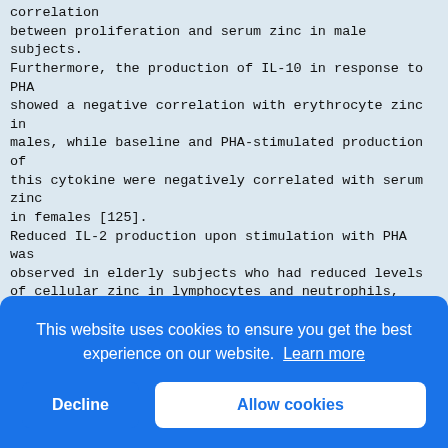correlation
between proliferation and serum zinc in male
subjects.
Furthermore, the production of IL-10 in response to PHA
showed a negative correlation with erythrocyte zinc in
males, while baseline and PHA-stimulated production of
this cytokine were negatively correlated with serum zinc
in females [125].
Reduced IL-2 production upon stimulation with PHA was
observed in elderly subjects who had reduced levels
of cellular zinc in lymphocytes and neutrophils,
whereas IL-2
production was not affected in zinc sufficient elderly and
younger controls [126]. In another study, subjects 90
years and older were not only zinc deficient, but a positive
corr
cell
diff
was
Addi
defi
freq
cong
gast
A de
estabilished, and
a correlation between zinc status and immune function
[Figure (other): Cookie consent banner overlay with blue background, text 'This website uses cookies to ensure you get the best experience on our website. Learn more', and two buttons: 'Decline' and 'Allow cookies']